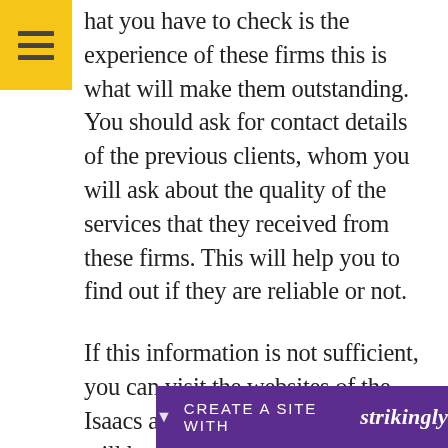that you have to check is the experience of these firms this is what will make them outstanding. You should ask for contact details of the previous clients, whom you will ask about the quality of the services that they received from these firms. This will help you to find out if they are reliable or not.
If this information is not sufficient, you can visit the websites of the Isaacs activation forms, maybe you will be able to learn more about the operations but most important you will find a review and rating page that will contain reviews from all their clients, which will help you to make your
[Figure (other): Purple Strikingly website builder promotional bar at the bottom with a down arrow and text 'CREATE A SITE WITH strikingly']